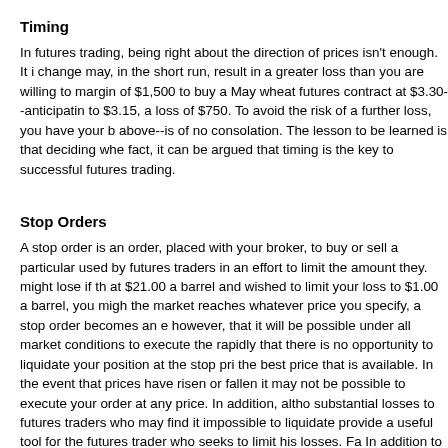Timing
In futures trading, being right about the direction of prices isn't enough. It i change may, in the short run, result in a greater loss than you are willing to margin of $1,500 to buy a May wheat futures contract at $3.30--anticipatin to $3.15, a loss of $750. To avoid the risk of a further loss, you have your b above--is of no consolation. The lesson to be learned is that deciding whe fact, it can be argued that timing is the key to successful futures trading.
Stop Orders
A stop order is an order, placed with your broker, to buy or sell a particular used by futures traders in an effort to limit the amount they. might lose if th at $21.00 a barrel and wished to limit your loss to $1.00 a barrel, you migh the market reaches whatever price you specify, a stop order becomes an e however, that it will be possible under all market conditions to execute the rapidly that there is no opportunity to liquidate your position at the stop pri the best price that is available. In the event that prices have risen or fallen it may not be possible to execute your order at any price. In addition, altho substantial losses to futures traders who may find it impossible to liquidate provide a useful tool for the futures trader who seeks to limit his losses. Fa In addition to providing a way to limit losses, stop orders can also be empl now at $24.00 a barrel, you might wish to place a stop order to sell if and v protect $2.00 of your existing $3.00 profit while still allowing you to benefit
Spreads
Spreading involves the simultaneous purchase and sale of futures contracts